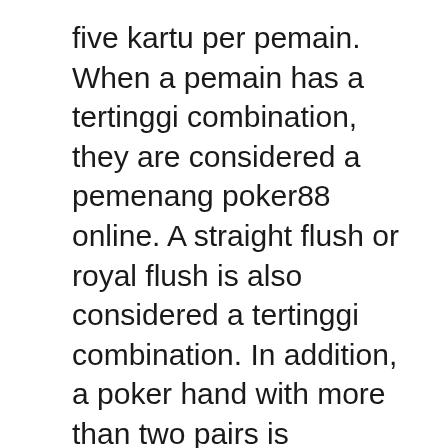five kartu per pemain. When a pemain has a tertinggi combination, they are considered a pemenang poker88 online. A straight flush or royal flush is also considered a tertinggi combination. In addition, a poker hand with more than two pairs is considered a full house.
IDNPoker is a relatively new online poker site that was originally launched in Cambodia in 2010. It initially failed to gain traction but eventually rose to the number two spot on the PokerScout rankings in 2016. While IDNPoker is relatively